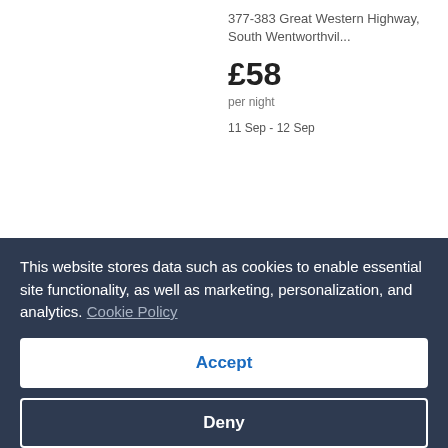377-383 Great Western Highway, South Wentworthvil...
£58 per night 11 Sep - 12 Sep
Show details
Greenacre Hotel
166 Waterloo Rd, Greenacre
This website stores data such as cookies to enable essential site functionality, as well as marketing, personalization, and analytics. Cookie Policy
Accept
Deny